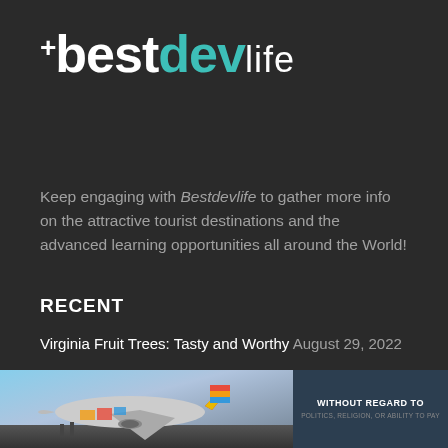[Figure (logo): bestdevlife logo with white 'best', teal 'dev', and white 'life' text on dark background, with a cross/plus symbol before 'b']
Keep engaging with Bestdevlife to gather more info on the attractive tourist destinations and the advanced learning opportunities all around the World!
RECENT
Virginia Fruit Trees: Tasty and Worthy August 29, 2022
Alocasia Amazonica vs Polly: Which One is the Best August 15, 2022
[Figure (photo): Advertisement banner showing a cargo airplane being loaded on a tarmac, with text 'WITHOUT REGARD TO POLITICS, RELIGION, OR ABILITY TO PAY' on dark blue overlay on the right side]